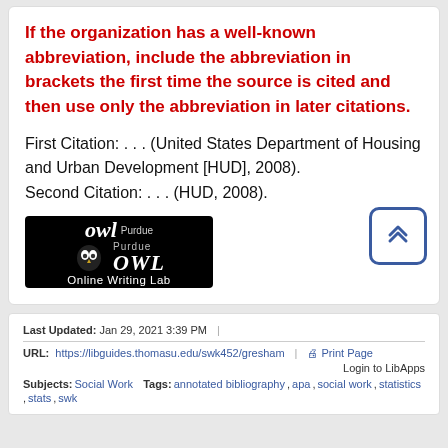If the organization has a well-known abbreviation, include the abbreviation in brackets the first time the source is cited and then use only the abbreviation in later citations.
First Citation: . . . (United States Department of Housing and Urban Development [HUD], 2008).
Second Citation: . . . (HUD, 2008).
[Figure (logo): Purdue OWL Online Writing Lab logo — white text and owl graphic on black background]
Last Updated: Jan 29, 2021 3:39 PM
URL: https://libguides.thomasu.edu/swk452/gresham
Print Page   Login to LibApps
Subjects: Social Work   Tags: annotated bibliography, apa, social work, statistics, stats, swk